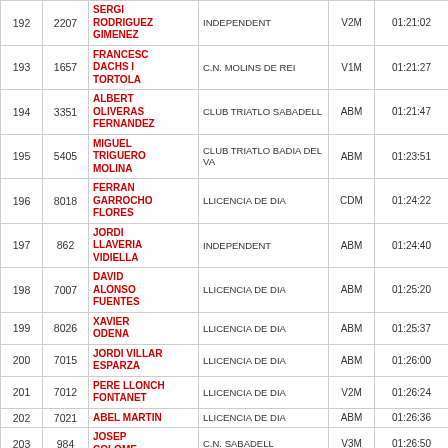| Pos | Dorsal | Nom | Club | Cat | Temps |
| --- | --- | --- | --- | --- | --- |
| 192 | 2207 | SERGI RODRIGUEZ GIMENEZ | INDEPENDENT | V2M | 01:21:02 |
| 193 | 1657 | FRANCESC DACHS I TORTOLA | C.N. MOLINS DE REI | V1M | 01:21:27 |
| 194 | 3351 | ALBERT OLIVERAS FERNANDEZ | CLUB TRIATLO SABADELL | ABM | 01:21:47 |
| 195 | 5405 | MIGUEL TRIGUERO MOLINA | CLUB TRIATLO BADIA DEL VA | ABM | 01:23:51 |
| 196 | 8018 | FERRAN GARROCHO FLORES | LLICENCIA DE DIA | CDM | 01:24:22 |
| 197 | 862 | JORDI LLAVERIA VIDIELLA | INDEPENDENT | ABM | 01:24:40 |
| 198 | 7007 | DAVID ALONSO FUENTES | LLICENCIA DE DIA | ABM | 01:25:20 |
| 199 | 8026 | XAVIER ODENA | LLICENCIA DE DIA | ABM | 01:25:37 |
| 200 | 7015 | JORDI VILLAR ESPARZA | LLICENCIA DE DIA | ABM | 01:26:00 |
| 201 | 7012 | PERE LLONCH FONTANET | LLICENCIA DE DIA | V2M | 01:26:24 |
| 202 | 7021 | ABEL MARTIN | LLICENCIA DE DIA | ABM | 01:26:36 |
| 203 | 984 | JOSEP COLOME | C.N. SABADELL | V3M | 01:26:50 |